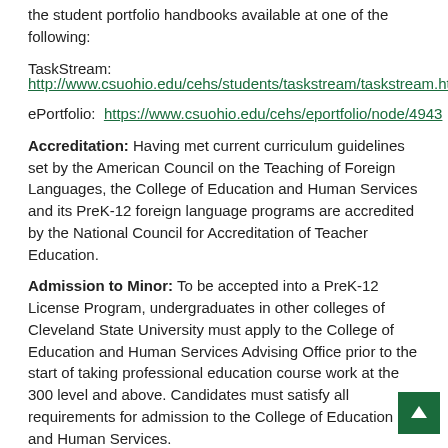the student portfolio handbooks available at one of the following:
TaskStream:
http://www.csuohio.edu/cehs/students/taskstream/taskstream.html
ePortfolio:  https://www.csuohio.edu/cehs/eportfolio/node/4943
Accreditation: Having met current curriculum guidelines set by the American Council on the Teaching of Foreign Languages, the College of Education and Human Services and its PreK-12 foreign language programs are accredited by the National Council for Accreditation of Teacher Education.
Admission to Minor: To be accepted into a PreK-12 License Program, undergraduates in other colleges of Cleveland State University must apply to the College of Education and Human Services Advising Office prior to the start of taking professional education course work at the 300 level and above. Candidates must satisfy all requirements for admission to the College of Education and Human Services.
Advising: Admission and program guidelines may be secured from the Education Student Services Center, Julka Hall 170, 216-687-4625. Continuing academic, personal, and professional advising is